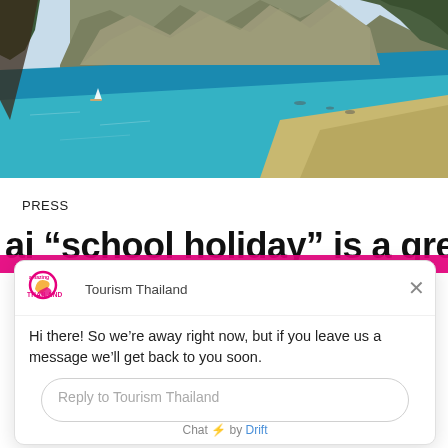[Figure (photo): Aerial or elevated view of a tropical bay with turquoise water, limestone karst cliffs, sandy beach, and a sailboat. Typical of Railay Beach or Krabi area in Thailand.]
PRESS
ai “school holiday” is a great way
[Figure (screenshot): Chat widget overlay from Drift chat for Tourism Thailand. Shows logo, 'Tourism Thailand' sender name, X close button, message 'Hi there! So we’re away right now, but if you leave us a message we’ll get back to you soon.' and a reply input field. Footer: Chat ⚡ by Drift]